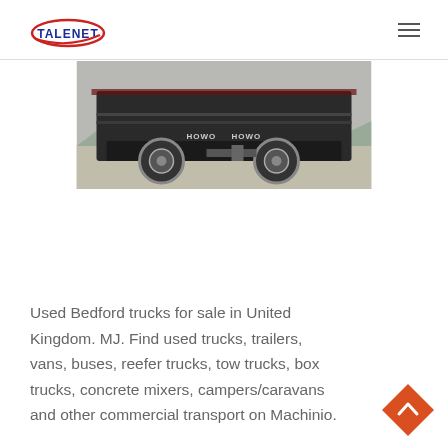TALENET
[Figure (photo): Rear view of a HOWO truck on a concrete surface with mountains in the background]
Used Bedford trucks for sale in United Kingdom. MJ. Find used trucks, trailers, vans, buses, reefer trucks, tow trucks, box trucks, concrete mixers, campers/caravans and other commercial transport on Machinio.